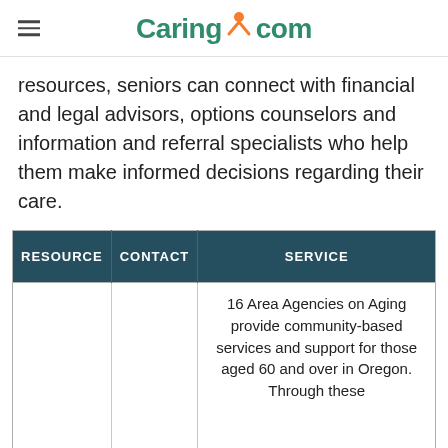Caring.com
resources, seniors can connect with financial and legal advisors, options counselors and information and referral specialists who help them make informed decisions regarding their care.
| RESOURCE | CONTACT | SERVICE |
| --- | --- | --- |
|  |  | 16 Area Agencies on Aging provide community-based services and support for those aged 60 and over in Oregon. Through these |